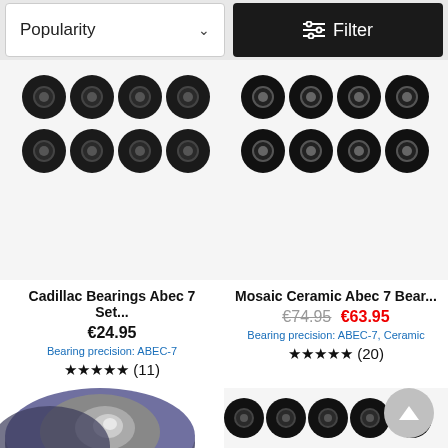[Figure (screenshot): Sort by Popularity dropdown and Filter button in top navigation bar]
[Figure (photo): Cadillac Bearings Abec 7 Set product image showing 8 black skateboard bearings arranged in 2 rows]
Cadillac Bearings Abec 7 Set...
€24.95
Bearing precision: ABEC-7
★★★★★ (11)
[Figure (photo): Mosaic Ceramic Abec 7 Bearings product image showing 8 black skateboard bearings arranged in 2 rows]
Mosaic Ceramic Abec 7 Bear...
€74.95 €63.95
Bearing precision: ABEC-7, Ceramic
★★★★★ (20)
[Figure (photo): Partial view of a skateboard bearing product (purple/blue bearing close-up)]
[Figure (photo): Partial view of black skateboard bearings row]